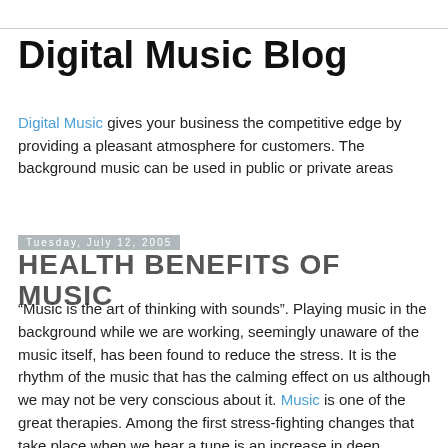Digital Music Blog
Digital Music gives your business the competitive edge by providing a pleasant atmosphere for customers. The background music can be used in public or private areas
Tuesday, July 12, 2005
HEALTH BENEFITS OF MUSIC
“Music is the art of thinking with sounds”. Playing music in the background while we are working, seemingly unaware of the music itself, has been found to reduce the stress. It is the rhythm of the music that has the calming effect on us although we may not be very conscious about it. Music is one of the great therapies. Among the first stress-fighting changes that take place when we hear a tune is an increase in deep breathing. Music was found to reduce heart rates and to promote higher body temperature - an indication of the onset of relaxation. By using the digital technique, we